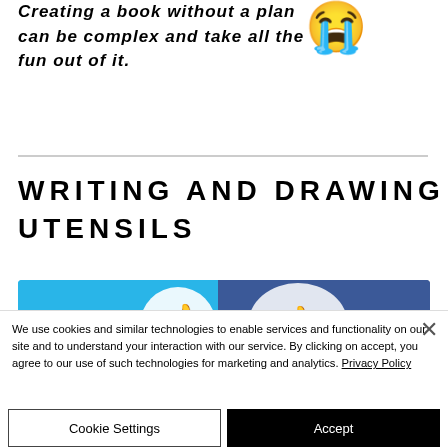Creating a book without a plan can be complex and take all the fun out of it.
[Figure (illustration): Crying face emoji (loudly crying face)]
WRITING AND DRAWING UTENSILS
[Figure (illustration): Partial image showing blue and dark blue graphic, appears to be a logo or illustration with thumbs-up shapes]
We use cookies and similar technologies to enable services and functionality on our site and to understand your interaction with our service. By clicking on accept, you agree to our use of such technologies for marketing and analytics. Privacy Policy